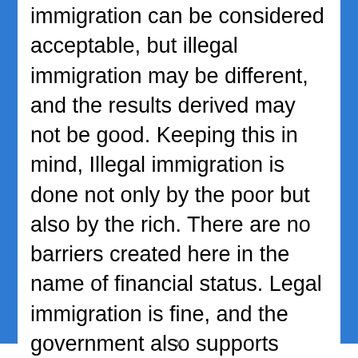immigration can be considered acceptable, but illegal immigration may be different, and the results derived may not be good. Keeping this in mind, Illegal immigration is done not only by the poor but also by the rich. There are no barriers created here in the name of financial status. Legal immigration is fine, and the government also supports immigrants by providing them jobs, education, etc. If any illegal immigrant is caught, there are chances of facing serious consequences such as the risk of detention, deportation, and other sanctions. Before
x